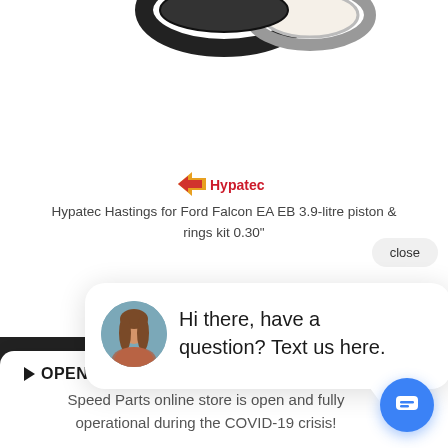[Figure (photo): Piston rings product photo at top of page, partially cropped]
[Figure (logo): Hypatec logo with red and yellow arrow graphic]
Hypatec Hastings for Ford Falcon EA EB 3.9-litre piston & rings kit 0.30"
close
[Figure (screenshot): Chat widget bubble with avatar photo of woman and text: Hi there, have a question? Text us here.]
Hi there, have a question? Text us here.
[Figure (photo): Partial black product image at bottom left]
OPEN FOR BUSINESS
Speed Parts online store is open and fully operational during the COVID-19 crisis!